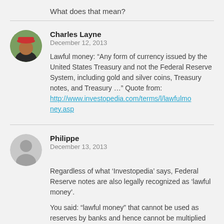What does that mean?
Charles Layne
December 12, 2013

Lawful money: “Any form of currency issued by the United States Treasury and not the Federal Reserve System, including gold and silver coins, Treasury notes, and Treasury …” Quote from: http://www.investopedia.com/terms/l/lawfulmoney.asp
Philippe
December 13, 2013

Regardless of what ‘Investopedia’ says, Federal Reserve notes are also legally recognized as ‘lawful money’.

You said: “lawful money” that cannot be used as reserves by banks and hence cannot be multiplied by the fractional reserve factor”.

But currency issued by the Treasury is and always was used as reserves by banks, to